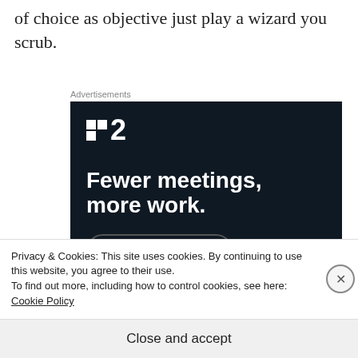of choice as objective just play a wizard you scrub.
[Figure (other): Advertisement banner for a project management tool (appears to be Plan.io or similar). Dark navy background with logo showing two squares and the number 2. Headline reads 'Fewer meetings, more work.' with a 'Get started for free' button.]
Privacy & Cookies: This site uses cookies. By continuing to use this website, you agree to their use.
To find out more, including how to control cookies, see here: Cookie Policy
Close and accept